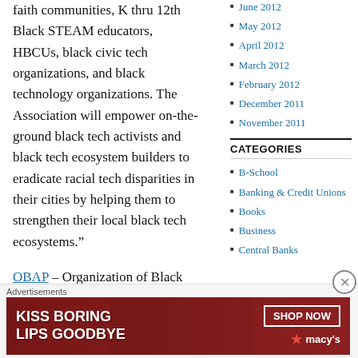faith communities, K thru 12th Black STEAM educators, HBCUs, black civic tech organizations, and black technology organizations. The Association will empower on-the-ground black tech activists and black tech ecosystem builders to eradicate racial tech disparities in their cities by helping them to strengthen their local black tech ecosystems.”
June 2012
May 2012
April 2012
March 2012
February 2012
December 2011
November 2011
CATEGORIES
B-School
Banking & Credit Unions
Books
Business
Central Banks
OBAP – Organization of Black Aerospace Professionals
“OBAP will be a world-leading
Advertisements
[Figure (photo): Macy's advertisement banner: Kiss Boring Lips Goodbye with Shop Now button and Macy's logo]